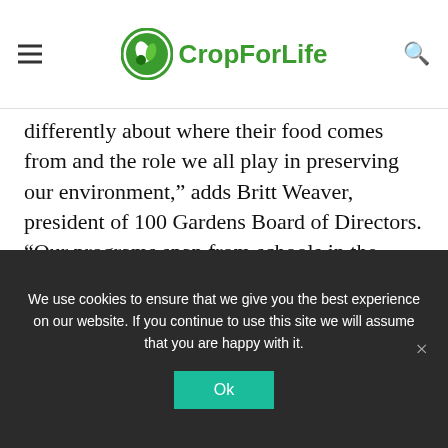CropForLife
differently about where their food comes from and the role we all play in preserving our environment,” adds Britt Weaver, president of 100 Gardens Board of Directors. “Our programs span from schools in the Charlotte, N.C. area to the Cabarrus Youth Development Center in Concord, N.C. to Eastern N.C. School for the Deaf in Wilson, N.C. to two new schools in Utah and beyond.”
ALSO READ
We use cookies to ensure that we give you the best experience on our website. If you continue to use this site we will assume that you are happy with it.